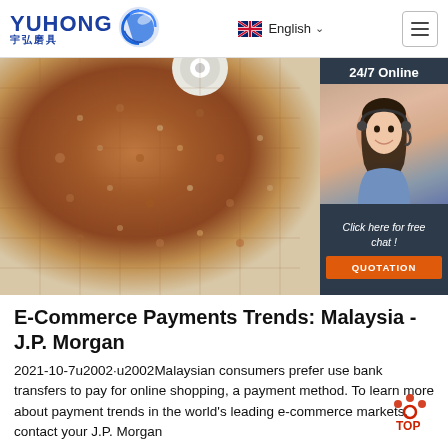YUHONG 宇弘磨具 | English | Navigation
[Figure (photo): Close-up photo of a brown/bronze grinding wheel disc with a white center hub, partially overlaid by a dark navy sidebar panel showing a customer service agent with headset, '24/7 Online' text, 'Click here for free chat!' and an orange QUOTATION button.]
E-Commerce Payments Trends: Malaysia - J.P. Morgan
2021-10-7u2002·u2002Malaysian consumers prefer use bank transfers to pay for online shopping, a payment method. To learn more about payment trends in the world's leading e-commerce markets, contact your J.P. Morgan